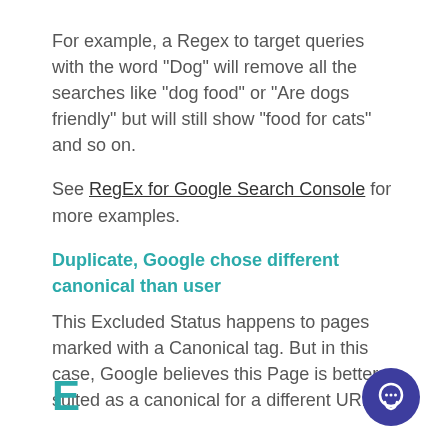For example, a Regex to target queries with the word "Dog" will remove all the searches like "dog food" or "Are dogs friendly" but will still show "food for cats" and so on.
See RegEx for Google Search Console for more examples.
Duplicate, Google chose different canonical than user
This Excluded Status happens to pages marked with a Canonical tag. But in this case, Google believes this Page is better suited as a canonical for a different URL.
E